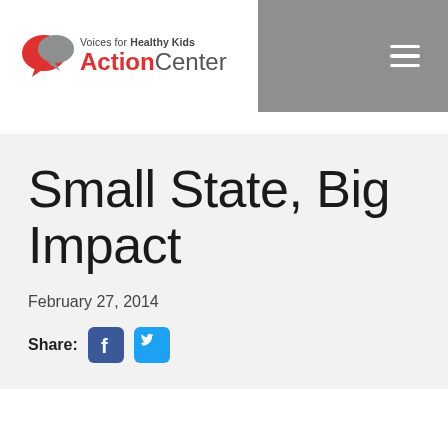[Figure (logo): Voices for Healthy Kids Action Center logo with speech bubble graphic]
Small State, Big Impact
February 27, 2014
Share: